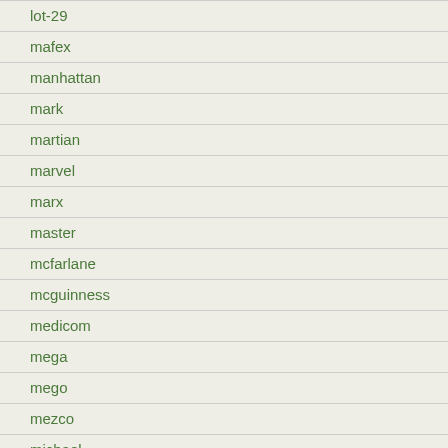lot-29
mafex
manhattan
mark
martian
marvel
marx
master
mcfarlane
mcguinness
medicom
mega
mego
mezco
michael